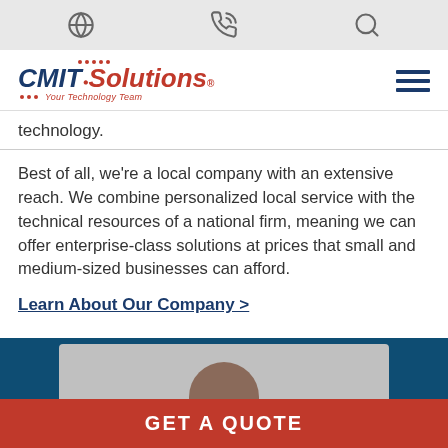[Navigation icons: globe, phone, search]
[Figure (logo): CMIT Solutions logo - Your Technology Team]
technology.
Best of all, we're a local company with an extensive reach. We combine personalized local service with the technical resources of a national firm, meaning we can offer enterprise-class solutions at prices that small and medium-sized businesses can afford.
Learn About Our Company >
[Figure (photo): Photo of a person, partially visible, in dark shirt against light background, within blue section]
GET A QUOTE